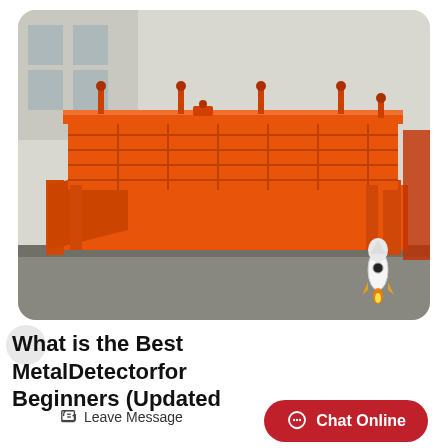[Figure (photo): Orange industrial metal detector / vibrating screen machine mounted on a frame, photographed outdoors. A small rocket ship icon/logo is visible in the lower right of the image.]
What is the Best MetalDetectorfor Beginners (Updated
Leave Message
Chat Online